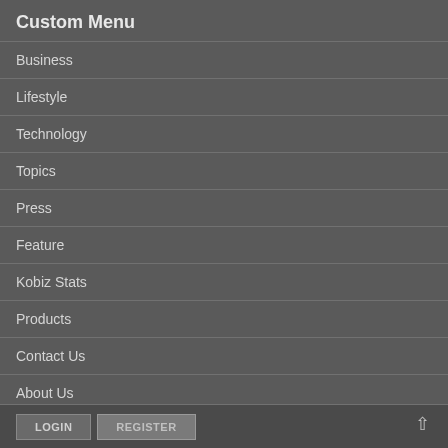Custom Menu
Business
Lifestyle
Technology
Topics
Press
Feature
Kobiz Stats
Products
Contact Us
About Us
LOGIN   REGISTER